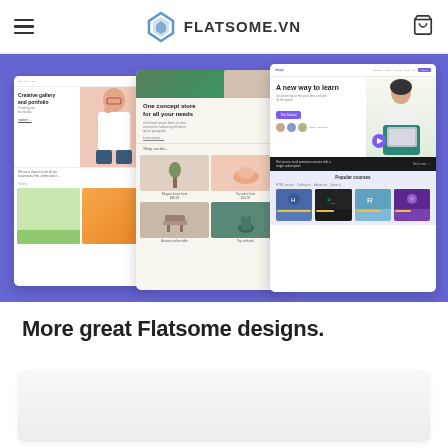FLATSOME.VN
[Figure (screenshot): Flatsome website builder showcase showing three overlapping browser/website mockup screenshots on a purple background. Left screen shows a creative gallery portfolio site with a woman photo and colorful images. Center screen shows an e-commerce store 'One concept store for all your needs'. Right screen shows an online learning platform 'A new way to learn' with course cards.]
More great Flatsome designs.
[Figure (screenshot): Partial preview of another Flatsome design template at the bottom of the page, shown as a light gray rectangle.]